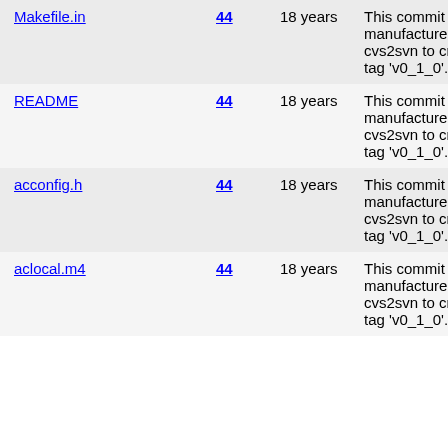| File | Rev | Age | Message |
| --- | --- | --- | --- |
| Makefile.in | 44 | 18 years | This commit was manufactured by cvs2svn to create tag 'v0_1_0'. |
| README | 44 | 18 years | This commit was manufactured by cvs2svn to create tag 'v0_1_0'. |
| acconfig.h | 44 | 18 years | This commit was manufactured by cvs2svn to create tag 'v0_1_0'. |
| aclocal.m4 | 44 | 18 years | This commit was manufactured by cvs2svn to create tag 'v0_1_0'. |